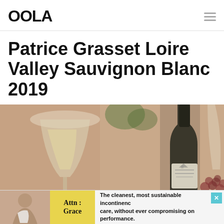OOLA
Patrice Grasset Loire Valley Sauvignon Blanc 2019
[Figure (photo): Wine bottle of Patrice Grasset Loire Valley Sauvignon Blanc 2019 next to a glass of white wine and red grapes in the background]
Attn : Grace — The cleanest, most sustainable incontinence care, without ever compromising on performance.